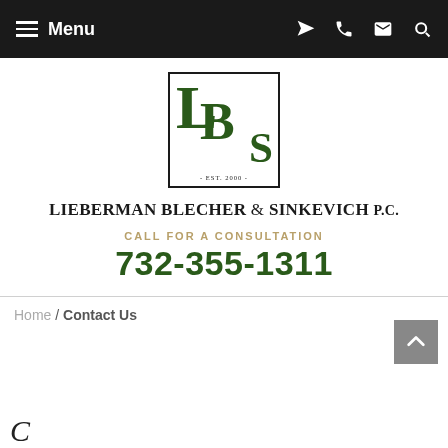Menu
[Figure (logo): Lieberman Blecher & Sinkevich P.C. law firm logo with initials LBS in green serif font inside a black border rectangle, with 'Est. 2000' at the bottom]
LIEBERMAN BLECHER & SINKEVICH P.C.
CALL FOR A CONSULTATION
732-355-1311
Home / Contact Us